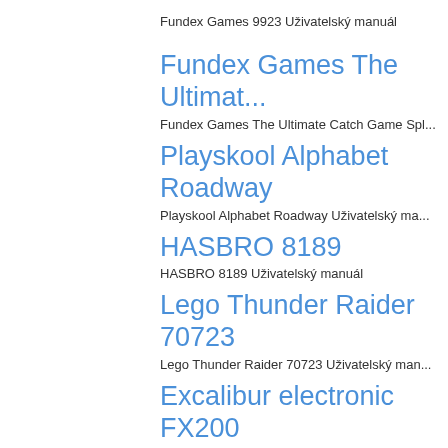Fundex Games 9923 Uživatelský manuál
Fundex Games The Ultimat...
Fundex Games The Ultimate Catch Game Spl...
Playskool Alphabet Roadway
Playskool Alphabet Roadway Uživatelský ma...
HASBRO 8189
HASBRO 8189 Uživatelský manuál
Lego Thunder Raider 70723
Lego Thunder Raider 70723 Uživatelský man...
Excalibur electronic FX200
Excalibur electronic FX200 Uživatelský manuál